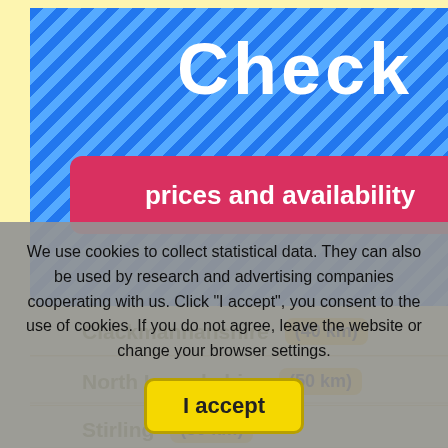[Figure (screenshot): Blue diagonal-striped banner with 'Check' in large white bold text and a red rounded-rectangle button with 'prices and availability' in white text]
Clackmannanshire (40 km)
North Lanarkshire (50 km)
Stirling (50 km)
Perth and Kinross (62 km)
South Lanarkshire (62 km)
Dundee (65 km)
Glasgow (68 km)
We use cookies to collect statistical data. They can also be used by research and advertising companies cooperating with us. Click "I accept", you consent to the use of cookies. If you do not agree, leave the website or change your browser settings.
I accept